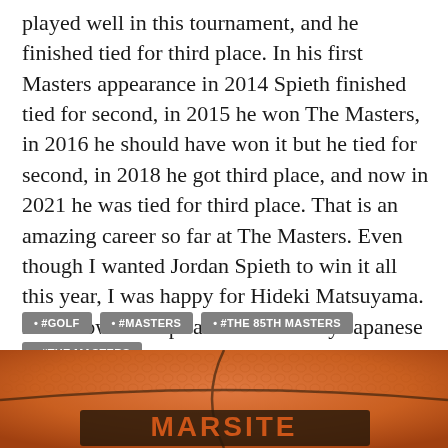played well in this tournament, and he finished tied for third place. In his first Masters appearance in 2014 Spieth finished tied for second, in 2015 he won The Masters, in 2016 he should have won it but he tied for second, in 2018 he got third place, and now in 2021 he was tied for third place. That is an amazing career so far at The Masters. Even though I wanted Jordan Spieth to win it all this year, I was happy for Hideki Matsuyama. He is now an inspiration to so many Japanese golfers.
#GOLF
#MASTERS
#THE 85TH MASTERS
#THE MASTERS
#THE MASTERS TOURNAMENT
[Figure (photo): Close-up photo of an orange basketball showing the textured surface and partial lettering/logo on the ball.]